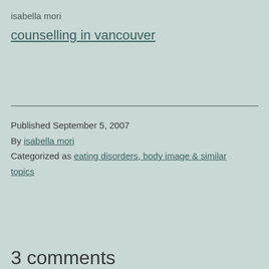isabella mori
counselling in vancouver
Published September 5, 2007
By isabella mori
Categorized as eating disorders, body image & similar topics
3 comments